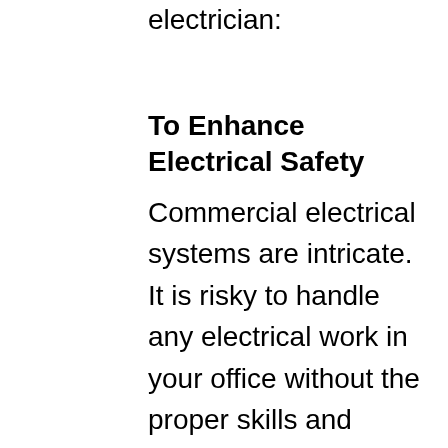enjoy by working with a qualified commercial electrician:
To Enhance Electrical Safety
Commercial electrical systems are intricate. It is risky to handle any electrical work in your office without the proper skills and tools. If you take the DIY route, you might make mistakes that may lead to serious electrical issues, fire or injuries. For this reason, you should hire qualified electricians. The electrical experts will handle all electrical wiring and repairs safely. They are experienced and knowledgeable enough to manage complex electrical components and systems. Electrical experts also stay updated with all electrical safety guidelines set by the authorities